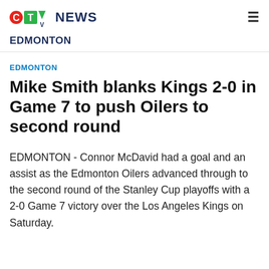CTV NEWS
EDMONTON
EDMONTON
Mike Smith blanks Kings 2-0 in Game 7 to push Oilers to second round
EDMONTON - Connor McDavid had a goal and an assist as the Edmonton Oilers advanced through to the second round of the Stanley Cup playoffs with a 2-0 Game 7 victory over the Los Angeles Kings on Saturday.
Goa Go six le on an d Mike Smith a nd